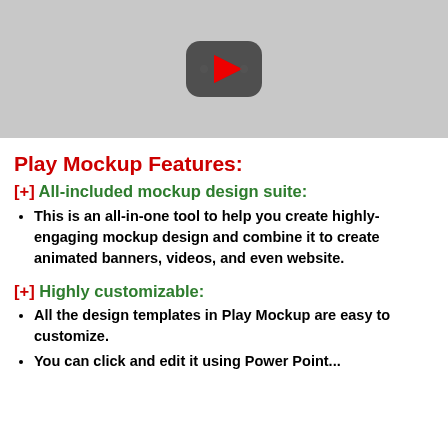[Figure (screenshot): YouTube video thumbnail placeholder showing a YouTube play button icon on a grey background]
Play Mockup Features:
[+] All-included mockup design suite:
This is an all-in-one tool to help you create highly-engaging mockup design and combine it to create animated banners, videos, and even website.
[+] Highly customizable:
All the design templates in Play Mockup are easy to customize.
You can click and edit using Power Point...